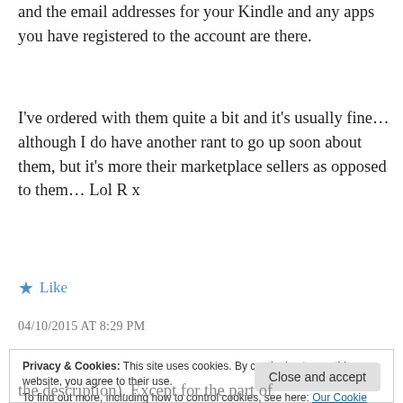and the email addresses for your Kindle and any apps you have registered to the account are there.
I've ordered with them quite a bit and it's usually fine… although I do have another rant to go up soon about them, but it's more their marketplace sellers as opposed to them… Lol R x
★ Like
04/10/2015 AT 8:29 PM
Privacy & Cookies: This site uses cookies. By continuing to use this website, you agree to their use.
To find out more, including how to control cookies, see here: Our Cookie Policy
the description). Except for the part of